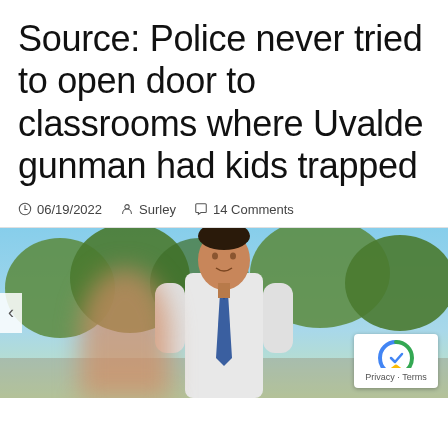Source: Police never tried to open door to classrooms where Uvalde gunman had kids trapped
06/19/2022   Surley   14 Comments
[Figure (photo): Photo of a man in a white dress shirt and blue tie standing outdoors with trees and blue sky in the background. A blurred figure appears to the left. A reCAPTCHA badge is visible in the bottom right corner with Privacy and Terms links.]